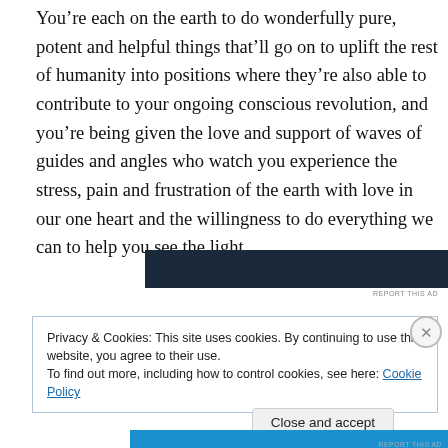You're each on the earth to do wonderfully pure, potent and helpful things that'll go on to uplift the rest of humanity into positions where they're also able to contribute to your ongoing conscious revolution, and you're being given the love and support of waves of guides and angles who watch you experience the stress, pain and frustration of the earth with love in our one heart and the willingness to do everything we can to help you see the light.
[Figure (other): Advertisement banner with dark navy blue background and a partial image of hands/person on the right side, with 'REPORT THIS AD' text below]
Privacy & Cookies: This site uses cookies. By continuing to use this website, you agree to their use.
To find out more, including how to control cookies, see here: Cookie Policy
Close and accept